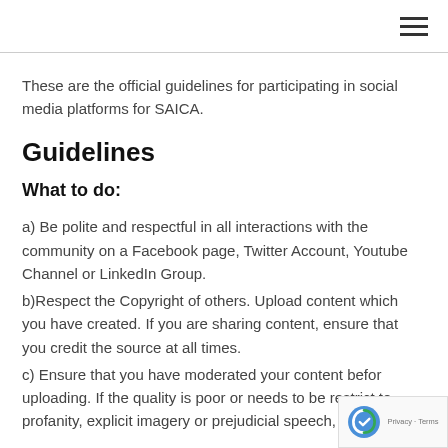≡ (hamburger menu icon)
These are the official guidelines for participating in social media platforms for SAICA.
Guidelines
What to do:
a) Be polite and respectful in all interactions with the community on a Facebook page, Twitter Account, Youtube Channel or LinkedIn Group.
b)Respect the Copyright of others. Upload content which you have created. If you are sharing content, ensure that you credit the source at all times.
c) Ensure that you have moderated your content before uploading. If the quality is poor or needs to be restricted to profanity, explicit imagery or prejudicial speech, your